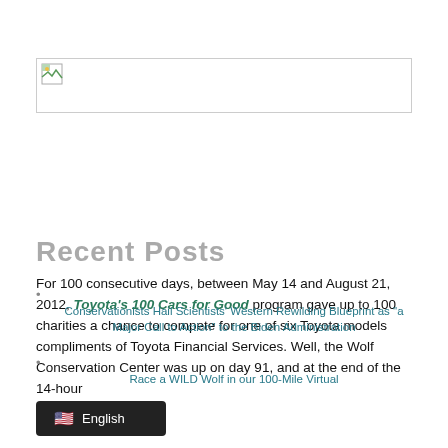[Figure (other): Broken image placeholder box with small image icon in top-left corner]
Recent Posts
For 100 consecutive days, between May 14 and August 21, 2012, Toyota's 100 Cars for Good program gave up to 100 charities a chance to compete for one of six Toyota models compliments of Toyota Financial Services. Well, the Wolf Conservation Center was up on day 91, and at the end of the 14-hour
Conservationists Hail Scientists' Western Rewilding Blueprint as "a Major Call to Action" to the Biden Administration
Race a WILD Wolf in our 100-Mile Virtual
[Figure (other): Language selector bar showing English with US flag]